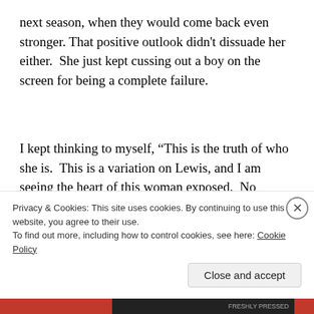next season, when they would come back even stronger. That positive outlook didn't dissuade her either.  She just kept cussing out a boy on the screen for being a complete failure.
I kept thinking to myself, “This is the truth of who she is.  This is a variation on Lewis, and I am seeing the heart of this woman exposed.  No wonder she gives me the negative vibes! Her heart is hate-filled, fearful, bitter, and angry”
Privacy & Cookies: This site uses cookies. By continuing to use this website, you agree to their use.
To find out more, including how to control cookies, see here: Cookie Policy
Close and accept